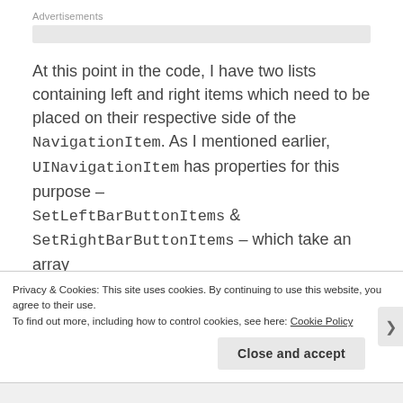Advertisements
At this point in the code, I have two lists containing left and right items which need to be placed on their respective side of the NavigationItem. As I mentioned earlier, UINavigationItem has properties for this purpose – SetLeftBarButtonItems & SetRightBarButtonItems – which take an array
Privacy & Cookies: This site uses cookies. By continuing to use this website, you agree to their use.
To find out more, including how to control cookies, see here: Cookie Policy
Close and accept